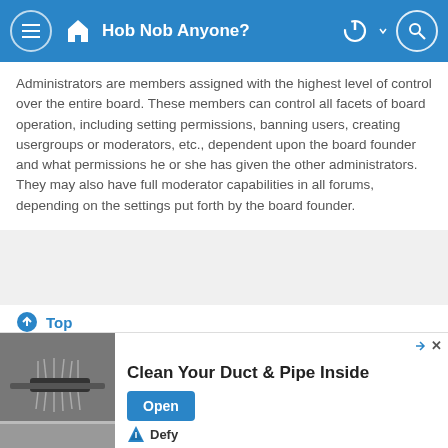Hob Nob Anyone?
Administrators are members assigned with the highest level of control over the entire board. These members can control all facets of board operation, including setting permissions, banning users, creating usergroups or moderators, etc., dependent upon the board founder and what permissions he or she has given the other administrators. They may also have full moderator capabilities in all forums, depending on the settings put forth by the board founder.
Top
What are Moderators?
[Figure (screenshot): Advertisement banner for 'Clean Your Duct & Pipe Inside' with a photo of a duct cleaning brush tool, an Open button, and a Defy logo at the bottom left.]